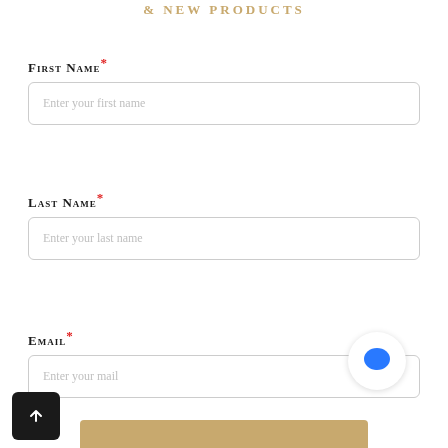& NEW PRODUCTS
First Name *
Enter your first name
Last Name *
Enter your last name
Email *
Enter your mail
[Figure (illustration): Blue speech bubble / chat icon inside a white circle with shadow]
[Figure (illustration): Dark square button with upward arrow (scroll to top)]